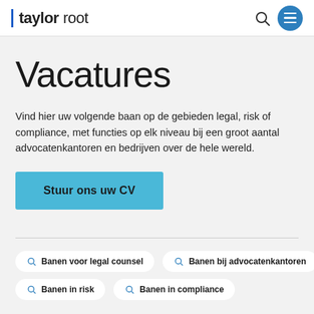taylor root
Vacatures
Vind hier uw volgende baan op de gebieden legal, risk of compliance, met functies op elk niveau bij een groot aantal advocatenkantoren en bedrijven over de hele wereld.
Stuur ons uw CV
Banen voor legal counsel
Banen bij advocatenkantoren
Banen in risk
Banen in compliance